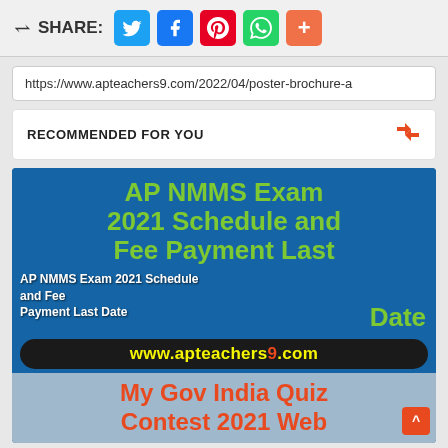SHARE: [Twitter] [Facebook] [Pinterest] [WhatsApp] [More]
https://www.apteachers9.com/2022/04/poster-brochure-a
RECOMMENDED FOR YOU
[Figure (screenshot): AP NMMS Exam 2021 Schedule and Fee Payment Last Date - thumbnail image with green bold text on blue background, website banner www.apteachers9.com, and partial My Gov India Quiz Contest 2021 Web text in red]
AP NMMS Exam 2021 Schedule and Fee Payment Last Date